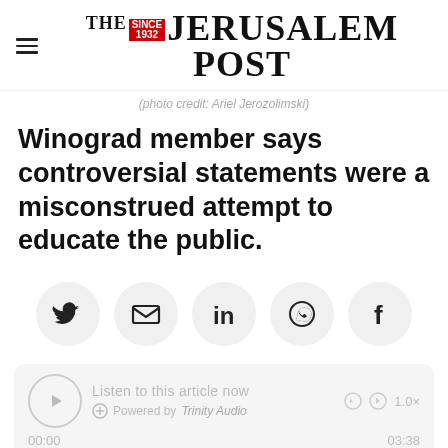THE JERUSALEM POST
(photo credit: Ariel Jerozolimski)
Winograd member says controversial statements were a misconstrued attempt to educate the public.
[Figure (infographic): Social sharing icons row: Twitter, Email, LinkedIn, WhatsApp, Facebook]
[Figure (infographic): Audio player widget: Listen to this article now, Powered by Trinity Audio, 00:00 / 03:38, 1.0x speed]
Advertisement